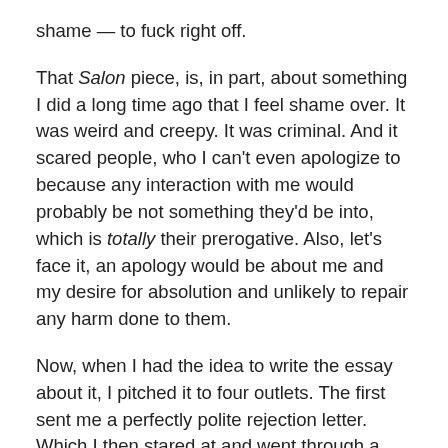shame — to fuck right off.
That Salon piece, is, in part, about something I did a long time ago that I feel shame over. It was weird and creepy. It was criminal. And it scared people, who I can't even apologize to because any interaction with me would probably be not something they'd be into, which is totally their prerogative. Also, let's face it, an apology would be about me and my desire for absolution and unlikely to repair any harm done to them.
Now, when I had the idea to write the essay about it, I pitched it to four outlets. The first sent me a perfectly polite rejection letter. Which I then stared at and went through a spiral over where I was embarrassed for thinking I could write for such an outlet, ashamed that I had wasted someone's time, and felt this overwhelming sense of the